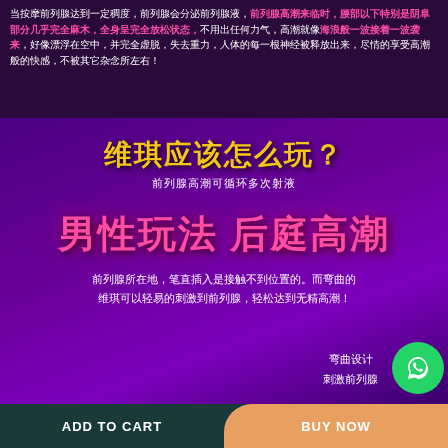当按摩前列腺达到一定稠度，前列腺会分泌前列腺液，前列腺高潮来临时，腰部以下特别是阴阜部分几乎完全麻木，全身呈完全放松状态，不用出任何力气，高潮就像海浪般一波接着一波袭来，好像漂浮在空中，并完全虚脱，失去重力，人体的每一根神经被释放出来，尽情的享受高潮般的快感，不被其它杂念所左右！
维琪应该怎么玩？
前列腺高潮可循环多次射液
男性玩法 后庭高潮
前列腺所在地，笔直插入是接触不到位置的。而弯曲的维琪可以轻易的刺激到前列腺，轻松达到无精高潮！
弯曲设计
刺激前列腺
ADD TO CART    BUY NOW